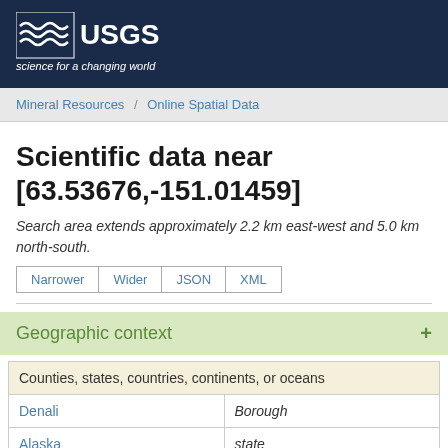[Figure (logo): USGS logo with text 'science for a changing world' on dark navy background]
Mineral Resources / Online Spatial Data
Scientific data near [63.53676,-151.01459]
Search area extends approximately 2.2 km east-west and 5.0 km north-south.
Narrower | Wider | JSON | XML
Geographic context
| Counties, states, countries, continents, or oceans |
| --- |
| Denali | Borough |
| Alaska | state |